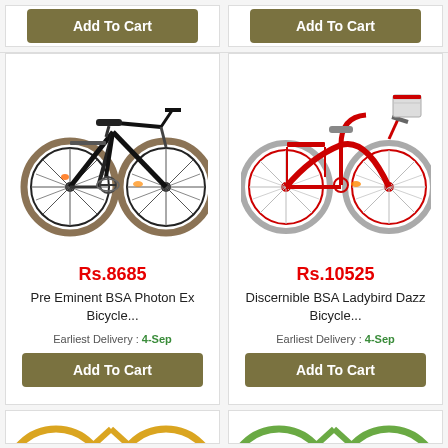[Figure (other): Add To Cart button (top left)]
[Figure (other): Add To Cart button (top right)]
[Figure (photo): Black BSA Photon Ex bicycle product photo]
Rs.8685
Pre Eminent BSA Photon Ex Bicycle...
Earliest Delivery : 4-Sep
[Figure (other): Add To Cart button for BSA Photon Ex]
[Figure (photo): Red BSA Ladybird Dazz bicycle product photo]
Rs.10525
Discernible BSA Ladybird Dazz Bicycle...
Earliest Delivery : 4-Sep
[Figure (other): Add To Cart button for BSA Ladybird Dazz]
[Figure (photo): Partial bicycle product photo (bottom left, cropped)]
[Figure (photo): Partial bicycle product photo (bottom right, cropped)]